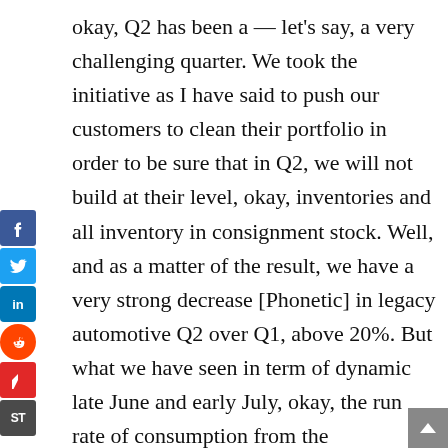okay, Q2 has been a — let's say, a very challenging quarter. We took the initiative as I have said to push our customers to clean their portfolio in order to be sure that in Q2, we will not build at their level, okay, inventories and all inventory in consignment stock. Well, and as a matter of the result, we have a very strong decrease [Phonetic] in legacy automotive Q2 over Q1, above 20%. But what we have seen in term of dynamic late June and early July, okay, the run rate of consumption from the consignment stock, okay, starting to rise up. And in Q3, I can confirm to you that including the legacy automotive, we will see a growth sequential, means we confirm and I confirm in my address that we are convinced that Q2 is a bottom, okay, of legacy automotive and we will start to see, okay, market recovery Q3 and most likely acceleration after the